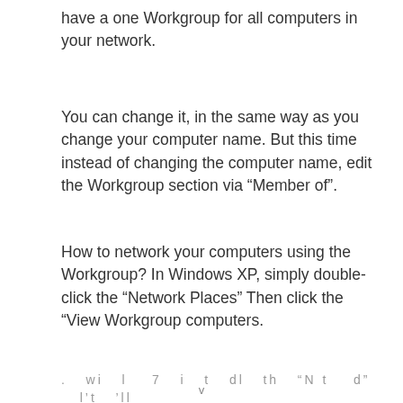have a one Workgroup for all computers in your network.
You can change it, in the same way as you change your computer name. But this time instead of changing the computer name, edit the Workgroup section via “Member of”.
How to network your computers using the Workgroup? In Windows XP, simply double-click the “Network Places” Then click the “View Workgroup computers.
. Wi  l   7 i  t  d   th  “N t   d”   l t  ’ll
v